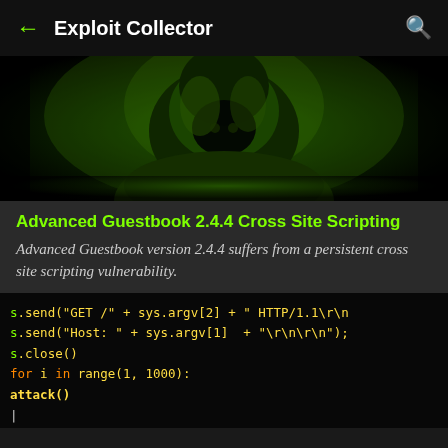← Exploit Collector 🔍
[Figure (photo): Hooded hacker figure in green lighting, dark atmospheric image]
Advanced Guestbook 2.4.4 Cross Site Scripting
Advanced Guestbook version 2.4.4 suffers from a persistent cross site scripting vulnerability.
[Figure (screenshot): Code snippet showing Python exploit code: s.send, s.close, for loop attack, import socket sys os, print statements for Remote DDOS and injecting]